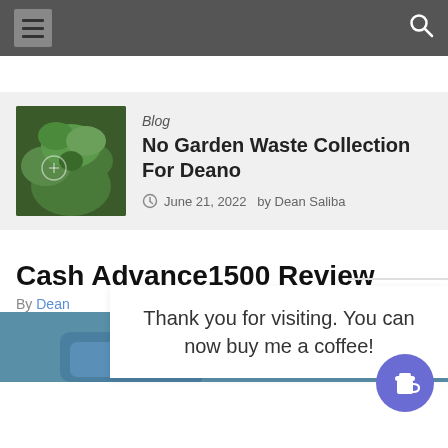Navigation bar with hamburger menu and search icon
[Figure (screenshot): Blog post card with thumbnail of green ferns/plants, category label 'Blog', title 'No Garden Waste Collection For Deano', date 'June 21, 2022', author 'Dean Saliba']
Cash Advance1500 Review
By Dean
Thank you for visiting. You can now buy me a coffee!
[Figure (photo): Partial image of blue/grey mechanical device at bottom of page]
[Figure (illustration): Purple circular buy-me-a-coffee button with coffee cup icon]